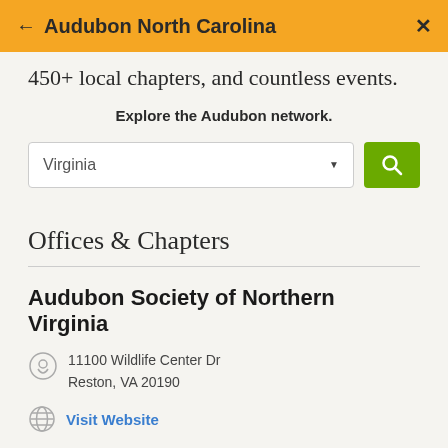← Audubon North Carolina ✕
450+ local chapters, and countless events.
Explore the Audubon network.
[Figure (screenshot): Dropdown selector showing 'Virginia' with a green search button]
Offices & Chapters
Audubon Society of Northern Virginia
11100 Wildlife Center Dr
Reston, VA 20190
Visit Website